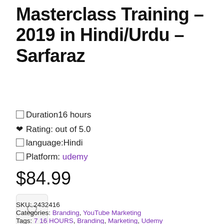Masterclass Training – 2019 in Hindi/Urdu – Sarfaraz
⬜ Duration16 hours
❤ Rating: out of 5.0
⬜ language:Hindi
⬜ Platform: udemy
$84.99
[Figure (other): Wishlist heart button icon in a rounded square button]
SKU: 2432416
Categories: Branding, YouTube Marketing
Tags: 7 16 HOURS, Branding, Marketing, Udemy